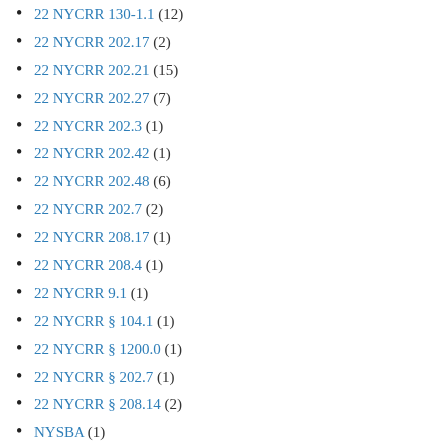22 NYCRR 130-1.1 (12)
22 NYCRR 202.17 (2)
22 NYCRR 202.21 (15)
22 NYCRR 202.27 (7)
22 NYCRR 202.3 (1)
22 NYCRR 202.42 (1)
22 NYCRR 202.48 (6)
22 NYCRR 202.7 (2)
22 NYCRR 208.17 (1)
22 NYCRR 208.4 (1)
22 NYCRR 9.1 (1)
22 NYCRR § 104.1 (1)
22 NYCRR § 1200.0 (1)
22 NYCRR § 202.7 (1)
22 NYCRR § 208.14 (2)
NYSBA (1)